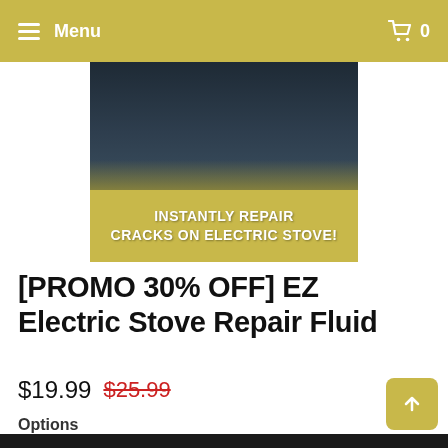Menu  0
[Figure (photo): Product image showing a dark electric stove surface with a yellow banner reading 'INSTANTLY REPAIR CRACKS ON ELECTRIC STOVE!']
[PROMO 30% OFF] EZ Electric Stove Repair Fluid
$19.99  $25.99
Options
1 SET